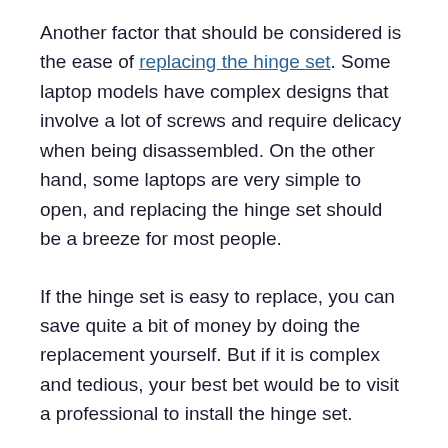Another factor that should be considered is the ease of replacing the hinge set. Some laptop models have complex designs that involve a lot of screws and require delicacy when being disassembled. On the other hand, some laptops are very simple to open, and replacing the hinge set should be a breeze for most people.
If the hinge set is easy to replace, you can save quite a bit of money by doing the replacement yourself. But if it is complex and tedious, your best bet would be to visit a professional to install the hinge set.
Frequently Asked Questions